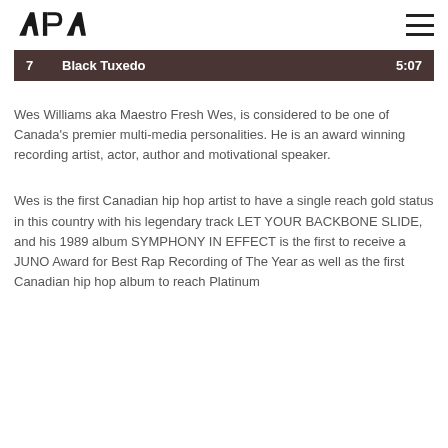APA
| # | Title | Duration |
| --- | --- | --- |
| 7 | Black Tuxedo | 5:07 |
Wes Williams aka Maestro Fresh Wes, is considered to be one of Canada's premier multi-media personalities. He is an award winning recording artist, actor, author and motivational speaker.
Wes is the first Canadian hip hop artist to have a single reach gold status in this country with his legendary track LET YOUR BACKBONE SLIDE, and his 1989 album SYMPHONY IN EFFECT is the first to receive a JUNO Award for Best Rap Recording of The Year as well as the first Canadian hip hop album to reach Platinum